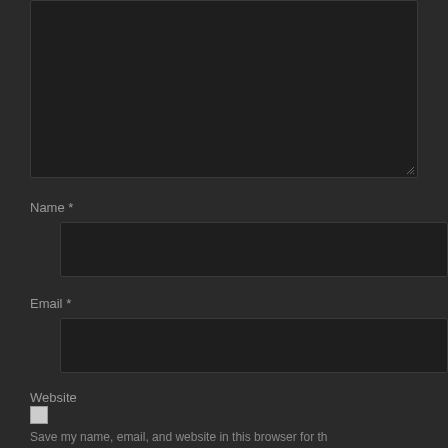[Figure (screenshot): Dark-themed web comment form showing a large textarea (partially visible at top), followed by Name, Email, and Website input fields with labels, and a checkbox at the bottom with partial text visible.]
Name *
Email *
Website
Save my name, email, and website in this browser for the...